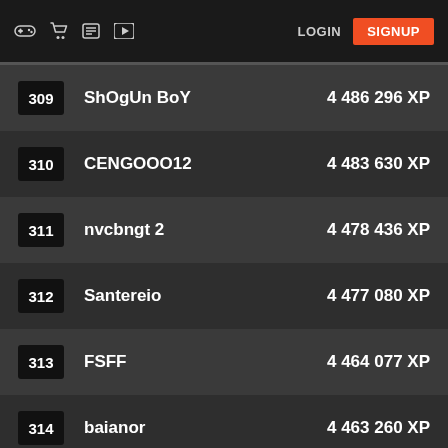LOGIN  SIGNUP
309  ShOgUn BoY  4 486 296 XP
310  CENGOOO12  4 483 630 XP
311  nvcbngt 2  4 478 436 XP
312  Santereio  4 477 080 XP
313  FSFF  4 464 077 XP
314  baianor  4 463 260 XP